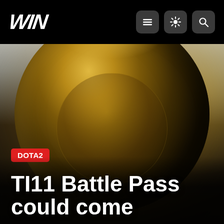WIN
[Figure (photo): Close-up photo of the Dota 2 Aegis of Champions trophy — a large ornate golden medallion with intricate engraved patterns, glowing with warm golden light against a misty grey background.]
TI11 Battle Pass could come